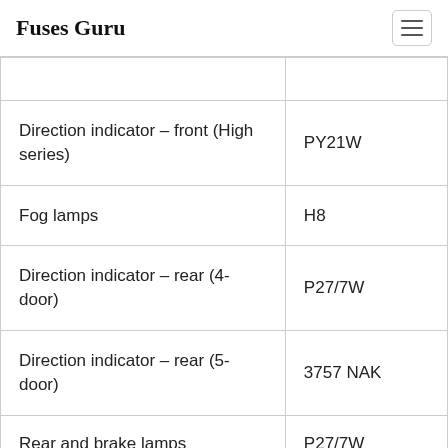Fuses Guru
|  |  |
| Direction indicator – front (High series) | PY21W |
| Fog lamps | H8 |
| Direction indicator – rear (4-door) | P27/7W |
| Direction indicator – rear (5-door) | 3757 NAK |
| Rear and brake lamps | P27/7W |